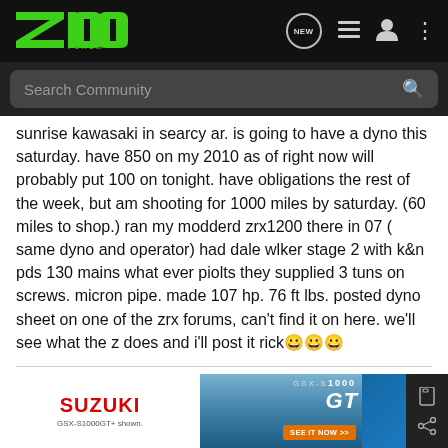Z1000 Forum - navigation bar with logo, NEW, list, user, and menu icons
Search Community
sunrise kawasaki in searcy ar. is going to have a dyno this saturday. have 850 on my 2010 as of right now will probably put 100 on tonight. have obligations the rest of the week, but am shooting for 1000 miles by saturday. (60 miles to shop.) ran my modderd zrx1200 there in 07 ( same dyno and operator) had dale wlker stage 2 with k&n pds 130 mains what ever piolts they supplied 3 tuns on screws. micron pipe. made 107 hp. 76 ft lbs. posted dyno sheet on one of the zrx forums, can't find it on here. we'll see what the z does and i'll post it rick😀😀😀
rick😀😀😀
[Figure (photo): Suzuki GSX-S1000GT advertisement banner with motorcycle image and blue gradient background]